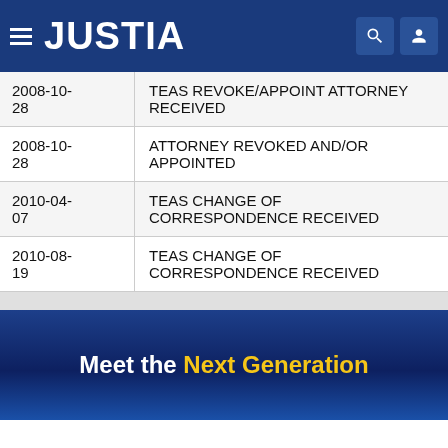JUSTIA
| Date | Event |
| --- | --- |
| 2008-10-28 | TEAS REVOKE/APPOINT ATTORNEY RECEIVED |
| 2008-10-28 | ATTORNEY REVOKED AND/OR APPOINTED |
| 2010-04-07 | TEAS CHANGE OF CORRESPONDENCE RECEIVED |
| 2010-08-19 | TEAS CHANGE OF CORRESPONDENCE RECEIVED |
Meet the Next Generation